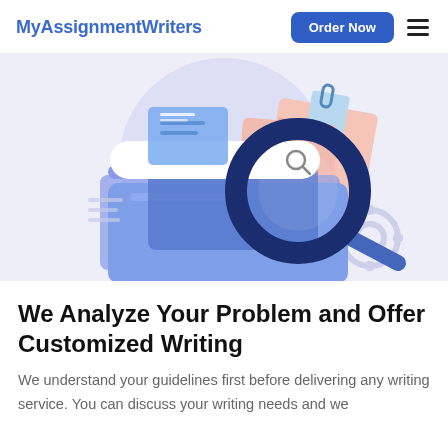MyAssignmentWriters
[Figure (illustration): Flat illustration of a magnifying glass over a search bar and folders with documents, in blue and pink tones on a light purple background]
We Analyze Your Problem and Offer Customized Writing
We understand your guidelines first before delivering any writing service. You can discuss your writing needs and we